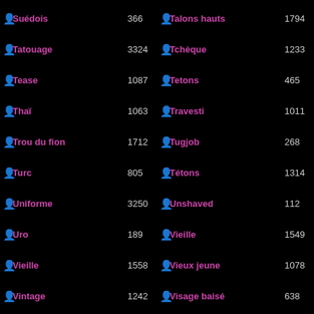Suédois 366
Tatouage 3324
Tease 1087
Thaï 1063
Trou du fion 1712
Turc 805
Uniforme 3250
Uro 189
Vieille 1558
Vintage 1242
Voyeur 3938
Talons hauts 1794
Tchèque 1233
Tetons 465
Travesti 1011
Tugjob 268
Tétons 1314
Unshaved 112
Vieille 1549
Vieux jeune 1078
Visage baisé 638
Vr 412